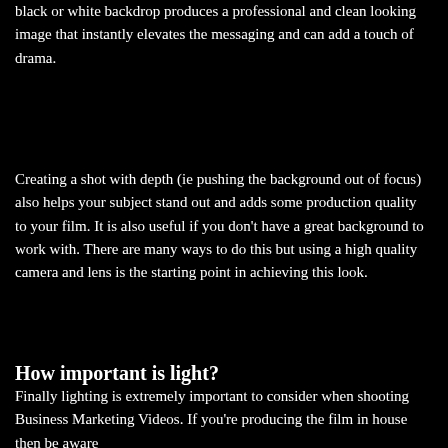black or white backdrop produces a professional and clean looking image that instantly elevates the messaging and can add a touch of drama.
Creating a shot with depth (ie pushing the background out of focus) also helps your subject stand out and adds some production quality to your film. It is also useful if you don't have a great background to work with. There are many ways to do this but using a high quality camera and lens is the starting point in achieving this look.
How important is light?
Finally lighting is extremely important to consider when shooting Business Marketing Videos. If you're producing the film in house then be aware